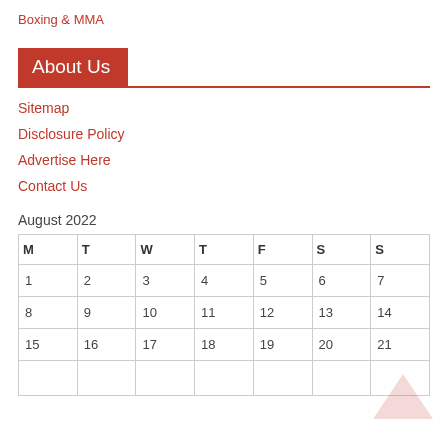Boxing & MMA
About Us
Sitemap
Disclosure Policy
Advertise Here
Contact Us
August 2022
| M | T | W | T | F | S | S |
| --- | --- | --- | --- | --- | --- | --- |
| 1 | 2 | 3 | 4 | 5 | 6 | 7 |
| 8 | 9 | 10 | 11 | 12 | 13 | 14 |
| 15 | 16 | 17 | 18 | 19 | 20 | 21 |
|  |  |  |  |  |  |  |